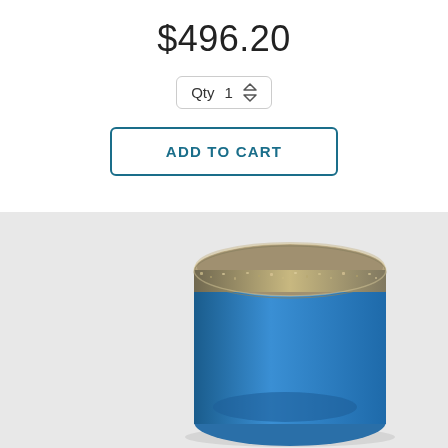$496.20
[Figure (screenshot): Quantity selector box showing 'Qty 1' with up/down arrows]
ADD TO CART
[Figure (photo): Close-up photo of a diamond core drill bit with a blue metal tube body and diamond-encrusted silver cutting rim, viewed from above at an angle, set against a light gray background]